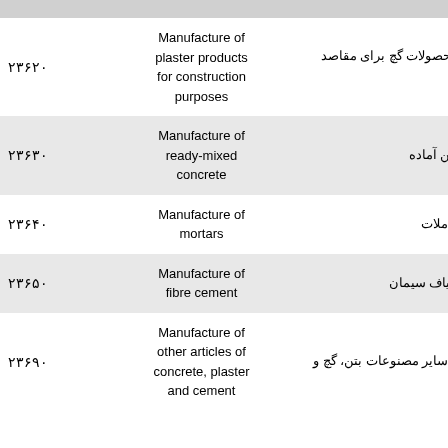| Code | English Description | Persian Description |
| --- | --- | --- |
| ۲۳۶۲۰ | Manufacture of plaster products for construction purposes | تولید محصولات گچ برای مقاصد سا |
| ۲۳۶۳۰ | Manufacture of ready-mixed concrete | تولید بتن آماده |
| ۲۳۶۴۰ | Manufacture of mortars | ساخت ملات |
| ۲۳۶۵۰ | Manufacture of fibre cement | تولید الیاف سیمان |
| ۲۳۶۹۰ | Manufacture of other articles of concrete, plaster and cement | ساخت سایر مصنوعات بتن، گچ و |